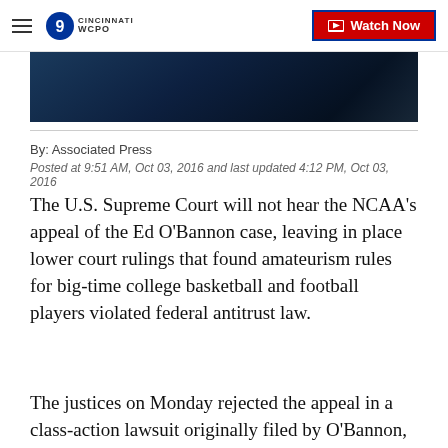WCPO 9 Cincinnati | Watch Now
[Figure (photo): Dark blue toned image, partially visible at top of article]
By: Associated Press
Posted at 9:51 AM, Oct 03, 2016 and last updated 4:12 PM, Oct 03, 2016
The U.S. Supreme Court will not hear the NCAA's appeal of the Ed O'Bannon case, leaving in place lower court rulings that found amateurism rules for big-time college basketball and football players violated federal antitrust law.
The justices on Monday rejected the appeal in a class-action lawsuit originally filed by O'Bannon, a former